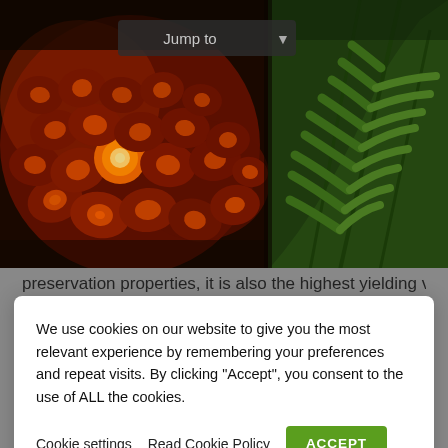[Figure (photo): Photo of palm oil fruits (dark red/brown drupes) on the left half and green palm fronds/leaves on the right half, with a 'Jump to' dropdown overlay in the upper center]
We use cookies on our website to give you the most relevant experience by remembering your preferences and repeat visits. By clicking “Accept”, you consent to the use of ALL the cookies.
Cookie settings   Read Cookie Policy   ACCEPT
preservation properties, it is also the highest yielding vegetable crop in the world.
However, the cultivation of palm oil can lead to deforestation which has many negative effects on local communities, biodiversity and protected species. In an attempt to combat this, we support the work of the Roundtable on Sustainable Palm Oil (RSPO) who have developed